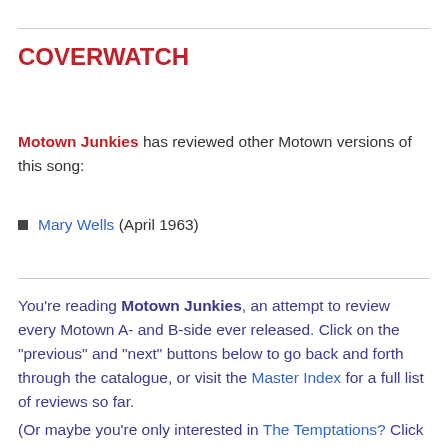COVERWATCH
Motown Junkies has reviewed other Motown versions of this song:
Mary Wells (April 1963)
You're reading Motown Junkies, an attempt to review every Motown A- and B-side ever released. Click on the “previous” and “next” buttons below to go back and forth through the catalogue, or visit the Master Index for a full list of reviews so far.
(Or maybe you’re only interested in The Temptations? Click for more.)